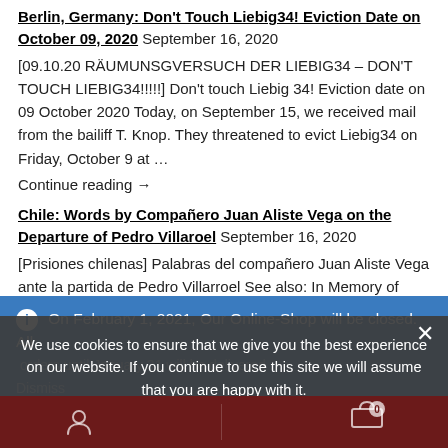Berlin, Germany: Don't Touch Liebig34! Eviction Date on October 09, 2020
September 16, 2020
[09.10.20 RÄUMUNSGVERSUCH DER LIEBIG34 – DON'T TOUCH LIEBIG34!!!!!] Don't touch Liebig 34! Eviction date on 09 October 2020 Today, on September 15, we received mail from the bailiff T. Knop. They threatened to evict Liebig34 on Friday, October 9 at … Continue reading →
Chile: Words by Compañero Juan Aliste Vega on the Departure of Pedro Villaroel
September 16, 2020
[Prisiones chilenas] Palabras del compañero Juan Aliste Vega ante la partida de Pedro Villarroel See also: In Memory of Pedro Villarroel We're love at war. These words for our mothers and
On February 1, 2021, Our Online-Shop will be closed. All orders until January 31 will be delivered
Dismiss
We use cookies to ensure that we give you the best experience on our website. If you continue to use this site we will assume that you are happy with it.
Ok